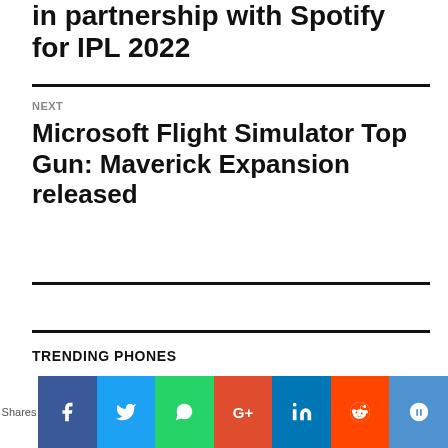in partnership with Spotify for IPL 2022
NEXT
Microsoft Flight Simulator Top Gun: Maverick Expansion released
TRENDING PHONES
[Figure (other): Social sharing bar with Shares label and icons for Facebook, Twitter, WhatsApp, Google+, LinkedIn, Reddit, and another platform]